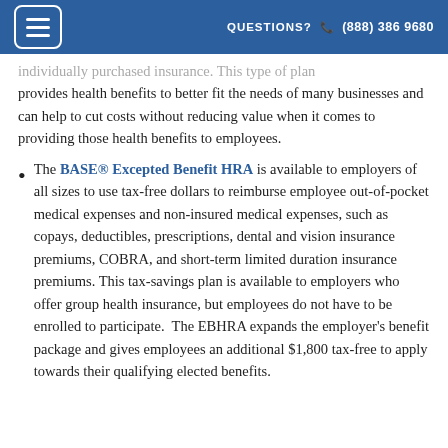QUESTIONS?  (888) 386 9680
individually purchased insurance. This type of plan provides health benefits to better fit the needs of many businesses and can help to cut costs without reducing value when it comes to providing those health benefits to employees.
The BASE® Excepted Benefit HRA is available to employers of all sizes to use tax-free dollars to reimburse employee out-of-pocket medical expenses and non-insured medical expenses, such as copays, deductibles, prescriptions, dental and vision insurance premiums, COBRA, and short-term limited duration insurance premiums. This tax-savings plan is available to employers who offer group health insurance, but employees do not have to be enrolled to participate. The EBHRA expands the employer's benefit package and gives employees an additional $1,800 tax-free to apply towards their qualifying elected benefits.